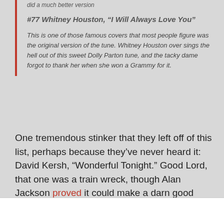did a much better version
#77 Whitney Houston, “I Will Always Love You”
This is one of those famous covers that most people figure was the original version of the tune. Whitney Houston over sings the hell out of this sweet Dolly Parton tune, and the tacky dame forgot to thank her when she won a Grammy for it.
One tremendous stinker that they left off of this list, perhaps because they’ve never heard it: David Kersh, “Wonderful Tonight.” Good Lord, that one was a train wreck, though Alan Jackson proved it could make a darn good country song when done right.